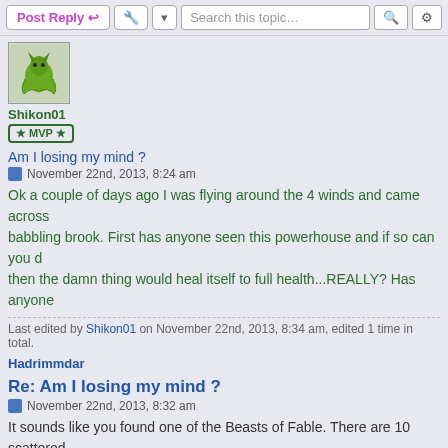Post Reply | Search this topic...
[Figure (illustration): User avatar for Shikon01 showing a green dragon creature]
Shikon01
★ MVP ★
Am I losing my mind ?
November 22nd, 2013, 8:24 am
Ok a couple of days ago I was flying around the 4 winds and came across a babbling brook. First has anyone seen this powerhouse and if so can you d then the damn thing would heal itself to full health...REALLY? Has anyone
Last edited by Shikon01 on November 22nd, 2013, 8:34 am, edited 1 time in total.
Hadrimmdar
Re: Am I losing my mind ?
November 22nd, 2013, 8:32 am
It sounds like you found one of the Beasts of Fable. There are 10 scattered look for the guides posted in the Community Guide section on how to kill th